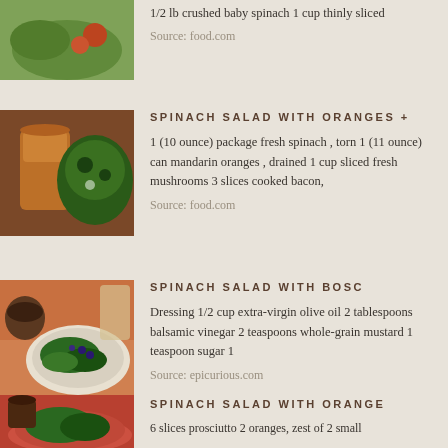[Figure (photo): Partial view of a green salad with lettuce and tomatoes]
1/2 lb crushed baby spinach 1 cup thinly sliced
Source: food.com
[Figure (photo): A glass of orange-brown dressing with a spinach salad in background]
SPINACH SALAD WITH ORANGES +
1 (10 ounce) package fresh spinach , torn 1 (11 ounce) can mandarin oranges , drained 1 cup sliced fresh mushrooms 3 slices cooked bacon,
Source: food.com
[Figure (photo): A plate of spinach salad with blueberries and a small wooden bowl in background]
SPINACH SALAD WITH BOSC
Dressing 1/2 cup extra-virgin olive oil 2 tablespoons balsamic vinegar 2 teaspoons whole-grain mustard 1 teaspoon sugar 1
Source: epicurious.com
[Figure (photo): A bowl of spinach salad with prosciutto and a small dressing cup]
SPINACH SALAD WITH ORANGE
6 slices prosciutto 2 oranges, zest of 2 small